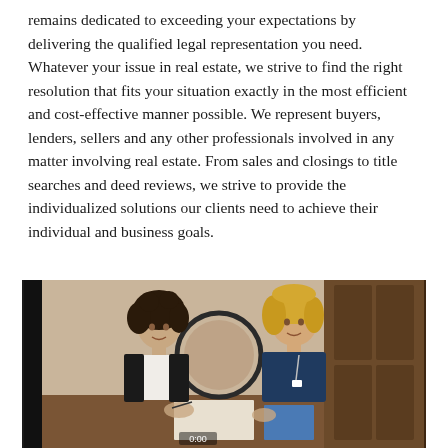remains dedicated to exceeding your expectations by delivering the qualified legal representation you need. Whatever your issue in real estate, we strive to find the right resolution that fits your situation exactly in the most efficient and cost-effective manner possible. We represent buyers, lenders, sellers and any other professionals involved in any matter involving real estate. From sales and closings to title searches and deed reviews, we strive to provide the individualized solutions our clients need to achieve their individual and business goals.
[Figure (photo): Video screenshot showing two women seated at a wooden table in an office. One woman has dark curly hair and is wearing a black top. The other is blonde and wearing a dark navy top. A wooden cabinet is visible in the background. A timestamp '0:00' is visible at the bottom center of the video frame.]